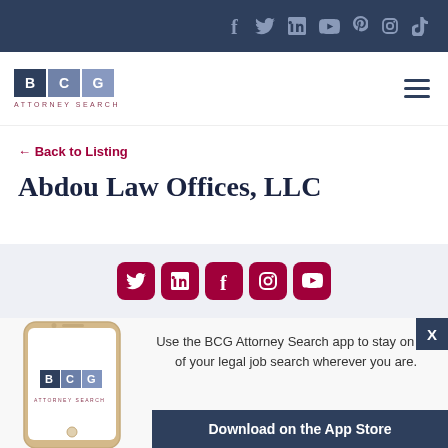Social media icons: f, twitter, in, youtube, pinterest, instagram, tiktok
[Figure (logo): BCG Attorney Search logo with three colored boxes (B, C, G) and tagline ATTORNEY SEARCH]
← Back to Listing
Abdou Law Offices, LLC
[Figure (infographic): Light gray section with social media icon buttons (Twitter, LinkedIn, Facebook, Instagram, YouTube) in dark red/crimson rounded squares, followed by a mobile app promotion showing a phone with BCG logo, text 'Use the BCG Attorney Search app to stay on top of your legal job search wherever you are.' and Download on the App Store button]